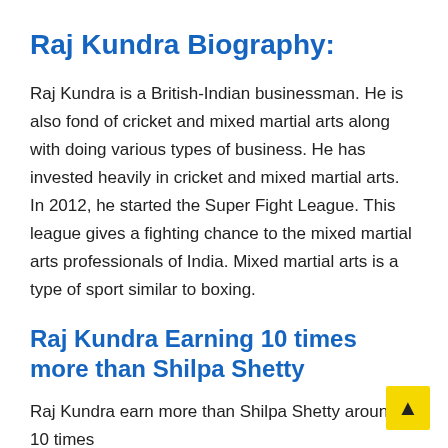Raj Kundra Biography:
Raj Kundra is a British-Indian businessman. He is also fond of cricket and mixed martial arts along with doing various types of business. He has invested heavily in cricket and mixed martial arts. In 2012, he started the Super Fight League. This league gives a fighting chance to the mixed martial arts professionals of India. Mixed martial arts is a type of sport similar to boxing.
Raj Kundra Earning 10 times more than Shilpa Shetty
Raj Kundra earn more than Shilpa Shetty around 10 times